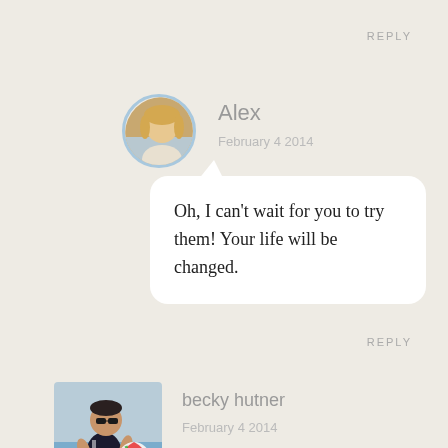REPLY
Alex
February 4 2014
[Figure (photo): Round avatar photo of Alex, a blonde woman smiling, with blue border, outdoors background]
Oh, I can't wait for you to try them! Your life will be changed.
REPLY
[Figure (photo): Square avatar photo of becky hutner, a woman in a swimsuit holding a beach ball, outdoors pool setting]
becky hutner
February 4 2014
these guys have become one of my favorite travel products & i would love to have some more!! thanks for the packing assessment